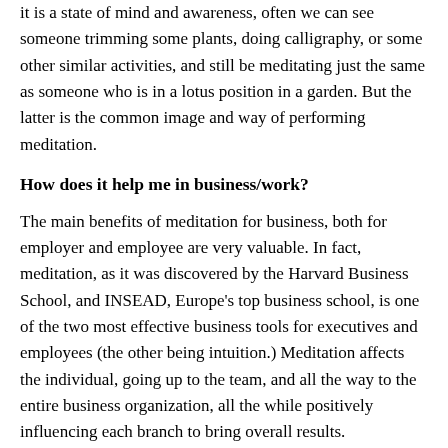it is a state of mind and awareness, often we can see someone trimming some plants, doing calligraphy, or some other similar activities, and still be meditating just the same as someone who is in a lotus position in a garden. But the latter is the common image and way of performing meditation.
How does it help me in business/work?
The main benefits of meditation for business, both for employer and employee are very valuable. In fact, meditation, as it was discovered by the Harvard Business School, and INSEAD, Europe's top business school, is one of the two most effective business tools for executives and employees (the other being intuition.) Meditation affects the individual, going up to the team, and all the way to the entire business organization, all the while positively influencing each branch to bring overall results.
Meditation actually helps solve the four key